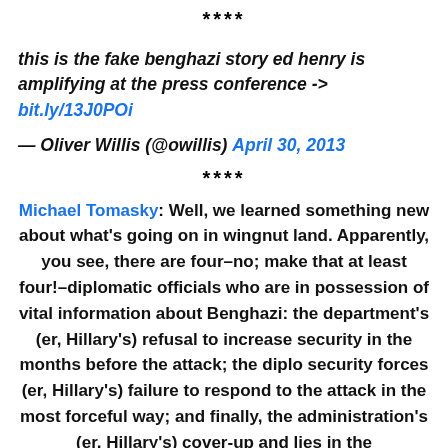****
this is the fake benghazi story ed henry is amplifying at the press conference -> bit.ly/13J0POi
— Oliver Willis (@owillis) April 30, 2013
****
Michael Tomasky: Well, we learned something new about what's going on in wingnut land. Apparently, you see, there are four–no; make that at least four!–diplomatic officials who are in possession of vital information about Benghazi: the department's (er, Hillary's) refusal to increase security in the months before the attack; the diplo security forces (er, Hillary's) failure to respond to the attack in the most forceful way; and finally, the administration's (er, Hillary's) cover-up and lies in the